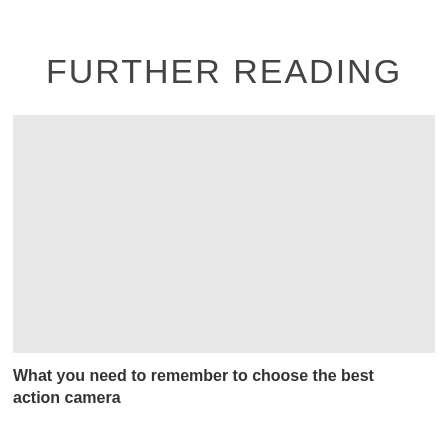FURTHER READING
[Figure (photo): A blank light grey placeholder image for a further reading article thumbnail.]
What you need to remember to choose the best action camera